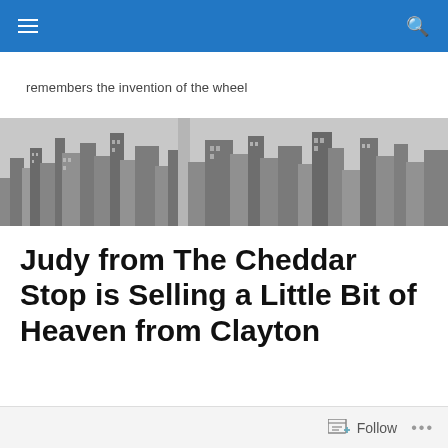remembers the invention of the wheel
[Figure (photo): Black and white aerial cityscape photo showing dense urban skyscrapers and buildings]
Judy from The Cheddar Stop is Selling a Little Bit of Heaven from Clayton
Follow ...